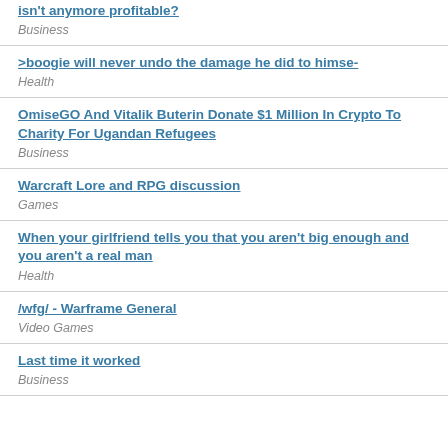isn't anymore profitable?
Business
>boogie will never undo the damage he did to himse-
Health
OmiseGO And Vitalik Buterin Donate $1 Million In Crypto To Charity For Ugandan Refugees
Business
Warcraft Lore and RPG discussion
Games
When your girlfriend tells you that you aren't big enough and you aren't a real man
Health
/wfg/ - Warframe General
Video Games
Last time it worked
Business